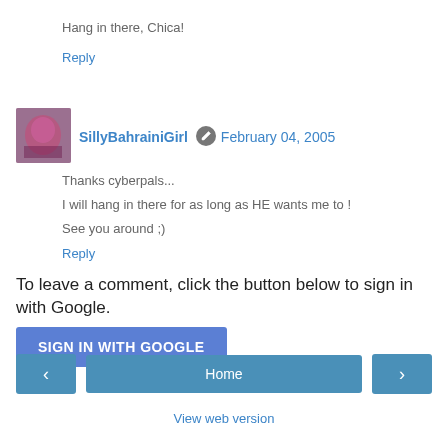Hang in there, Chica!
Reply
SillyBahrainiGirl  February 04, 2005
Thanks cyberpals...
I will hang in there for as long as HE wants me to !
See you around ;)
Reply
To leave a comment, click the button below to sign in with Google.
SIGN IN WITH GOOGLE
Home
View web version